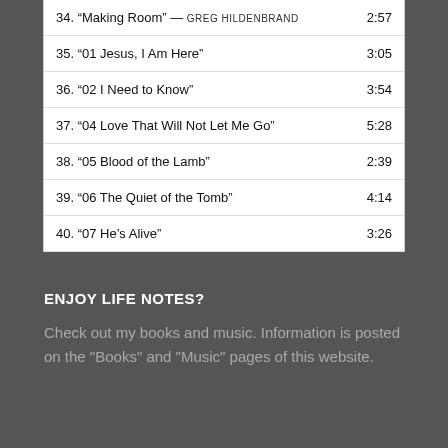| Track | Duration |
| --- | --- |
| 34. “Making Room” — GREG HILDENBRAND | 2:57 |
| 35. “01 Jesus, I Am Here” | 3:05 |
| 36. “02 I Need to Know” | 3:54 |
| 37. “04 Love That Will Not Let Me Go” | 5:28 |
| 38. “05 Blood of the Lamb” | 2:39 |
| 39. “06 The Quiet of the Tomb” | 4:14 |
| 40. “07 He’s Alive” | 3:26 |
ENJOY LIFE NOTES?
Check out my books and music. Information is posted on the "Books" and "Music" pages of this website.